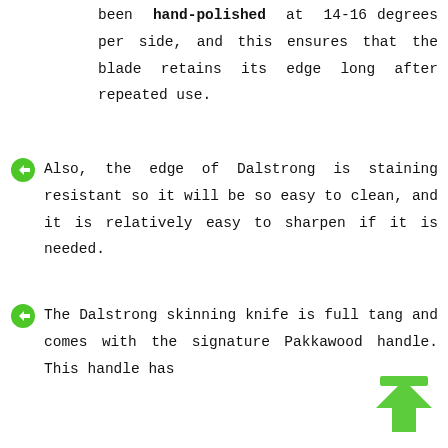been hand-polished at 14-16 degrees per side, and this ensures that the blade retains its edge long after repeated use.
Also, the edge of Dalstrong is staining resistant so it will be so easy to clean, and it is relatively easy to sharpen if it is needed.
The Dalstrong skinning knife is full tang and comes with the signature Pakkawood handle. This handle has